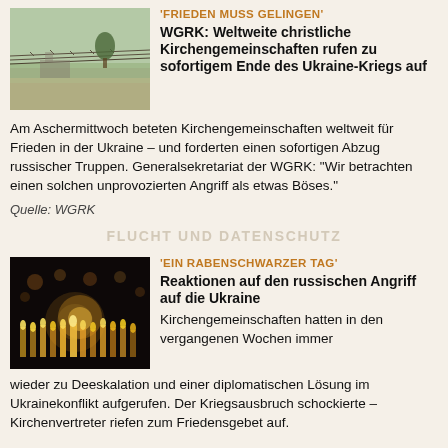[Figure (photo): Barbed wire fence with trees and ruins in background, outdoor landscape]
'FRIEDEN MUSS GELINGEN'
WGRK: Weltweite christliche Kirchengemeinschaften rufen zu sofortigem Ende des Ukraine-Kriegs auf
Am Aschermittwoch beteten Kirchengemeinschaften weltweit für Frieden in der Ukraine – und forderten einen sofortigen Abzug russischer Truppen. Generalsekretariat der WGRK: "Wir betrachten einen solchen unprovozierten Angriff als etwas Böses."
Quelle: WGRK
[Figure (photo): Candles lit in darkness, golden warm light against black background]
'EIN RABENSCHWARZER TAG'
Reaktionen auf den russischen Angriff auf die Ukraine
Kirchengemeinschaften hatten in den vergangenen Wochen immer wieder zu Deeskalation und einer diplomatischen Lösung im Ukrainekonflikt aufgerufen. Der Kriegsausbruch schockierte – Kirchenvertreter riefen zum Friedensgebet auf.